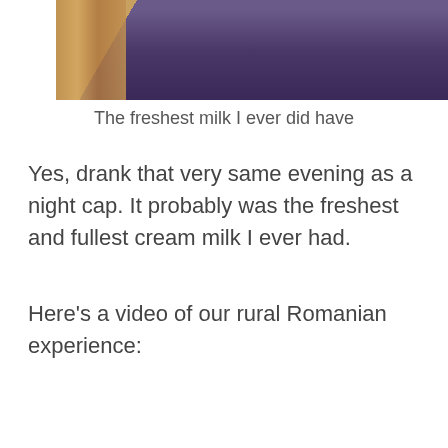[Figure (photo): Top portion of a photo showing a person in a purple down jacket sitting near a wooden chair/frame with a warm-toned food item visible on the left side]
The freshest milk I ever did have
Yes, drank that very same evening as a night cap. It probably was the freshest and fullest cream milk I ever had.
Here's a video of our rural Romanian experience:
[Figure (screenshot): YouTube video thumbnail for Romania Countryside Experience with a circular avatar icon on the left and mountain/winter landscape in the background]